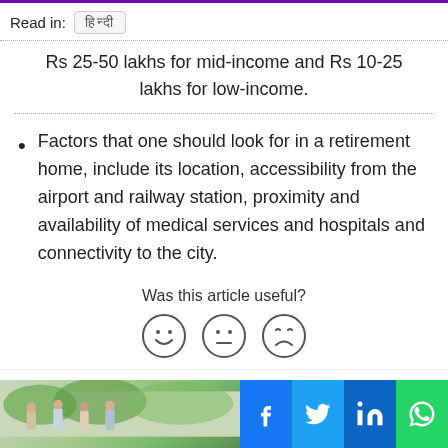Read in: [Hindi]
Rs 25-50 lakhs for mid-income and Rs 10-25 lakhs for low-income.
Factors that one should look for in a retirement home, include its location, accessibility from the airport and railway station, proximity and availability of medical services and hospitals and connectivity to the city.
Was this article useful?
[Figure (illustration): Three emoji feedback icons: happy face, neutral face, and sad/neutral face]
Related Posts
[Figure (photo): Group of elderly people outdoors in a garden setting with greenery]
[Figure (other): Social media share buttons: Facebook (blue), Twitter (blue), LinkedIn (blue), WhatsApp (green)]